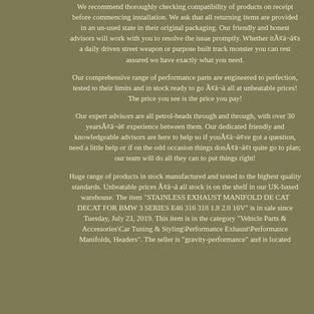We recommend thoroughly checking compatibility of products on receipt before commencing installation. We ask that all returning items are provided in an un-used state in their original packaging. Our friendly and honest advisors will work with you to resolve the issue promptly. Whether itÃ¢â¬â¢s a daily driven street weapon or purpose built track monster you can rest assured we have exactly what you need.
Our comprehensive range of performance parts are engineered to perfection, tested to their limits and in stock ready to go Ã¢â¬â all at unbeatable prices! The price you see is the price you pay!
Our expert advisors are all petrol-heads through and through, with over 30 yearsÃ¢â¬â¢ experience between them. Our dedicated friendly and knowledgeable advisors are here to help so if youÃ¢â¬â¢ve got a question, need a little help or if on the odd occasion things donÃ¢â¬â¢t quite go to plan; our team will do all they can to put things right!
Huge range of products in stock manufactured and tested to the highest quality standards. Unbeatable prices Ã¢â¬â all stock is on the shelf in our UK-based warehouse. The item "STAINLESS EXHAUST MANIFOLD DE CAT DECAT FOR BMW 3 SERIES E46 316 318 1.8 2.0 16V" is in sale since Tuesday, July 23, 2019. This item is in the category "Vehicle Parts & Accessories\Car Tuning & Styling\Performance Exhaust\Performance Manifolds, Headers". The seller is "gravity-performance" and is located